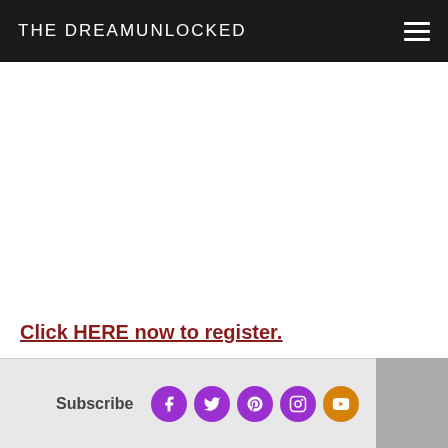THE DREAMUNLOCKED
Click HERE now to register.
Subscribe